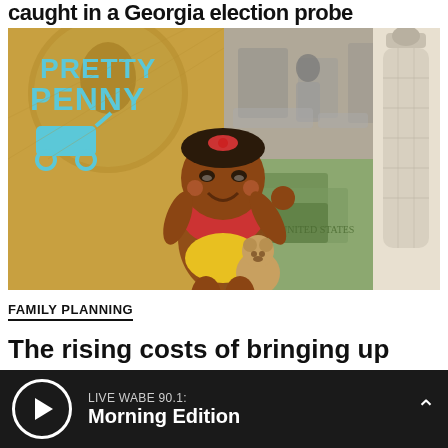caught in a Georgia election probe
[Figure (illustration): Collage image with four quadrants: top-left shows a coin backdrop with 'PRETTY PENNY' text and baby carriage illustration; center shows an animated Black baby character waving with a teddy bear; top-right shows a black-and-white photo of hospital nursery; far right shows a detailed illustration of a baby bottle.]
FAMILY PLANNING
The rising costs of bringing up babies in Georgia
LIVE WABE 90.1: Morning Edition